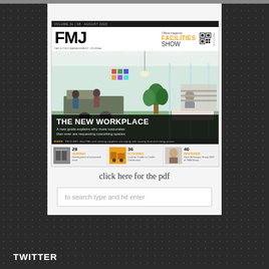[Figure (illustration): FMJ (Facilities Management Journal) magazine cover for August 2023, showing an open-plan office workplace with green flooring and pendant lights. Headline: THE NEW WORKPLACE. Subheadline: A new guide explains why more corporates than ever are requesting coworking spaces. Inside strip with thumbnails for pages 28 (Vending), 36 (Flooring), 40 (Interview).]
click here for the pdf
to search type and hit enter
TWITTER